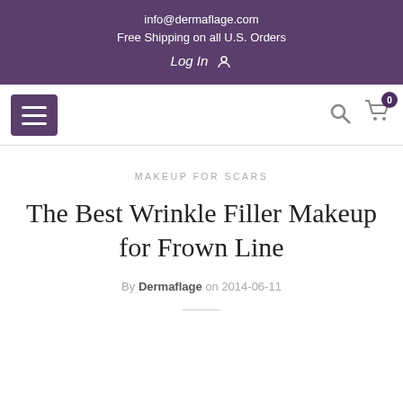info@dermaflage.com
Free Shipping on all U.S. Orders
Log In
[Figure (screenshot): Navigation bar with hamburger menu button on left, search icon and shopping cart icon with badge '0' on right]
MAKEUP FOR SCARS
The Best Wrinkle Filler Makeup for Frown Line
By Dermaflage on 2014-06-11